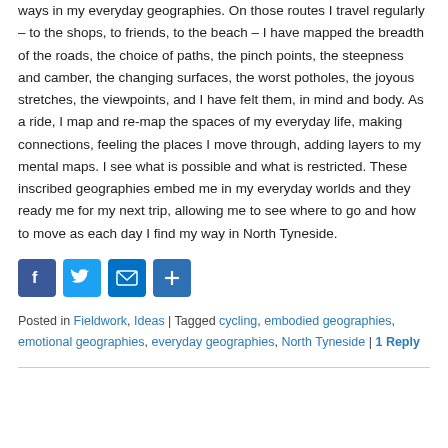ways in my everyday geographies. On those routes I travel regularly – to the shops, to friends, to the beach – I have mapped the breadth of the roads, the choice of paths, the pinch points, the steepness and camber, the changing surfaces, the worst potholes, the joyous stretches, the viewpoints, and I have felt them, in mind and body. As a ride, I map and re-map the spaces of my everyday life, making connections, feeling the places I move through, adding layers to my mental maps. I see what is possible and what is restricted. These inscribed geographies embed me in my everyday worlds and they ready me for my next trip, allowing me to see where to go and how to move as each day I find my way in North Tyneside.
[Figure (infographic): Row of four social sharing icon buttons: Facebook (blue), Twitter (blue), Email (blue), Share/Plus (blue)]
Posted in Fieldwork, Ideas | Tagged cycling, embodied geographies, emotional geographies, everyday geographies, North Tyneside | 1 Reply